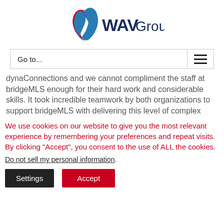[Figure (logo): WAV Group logo with red and blue ribbon W mark and WAVGroup text in dark navy]
Go to...
dynaConnections and we cannot compliment the staff at bridgeMLS enough for their hard work and considerable skills. It took incredible teamwork by both organizations to support bridgeMLS with delivering this level of complex
We use cookies on our website to give you the most relevant experience by remembering your preferences and repeat visits. By clicking “Accept”, you consent to the use of ALL the cookies.
Do not sell my personal information.